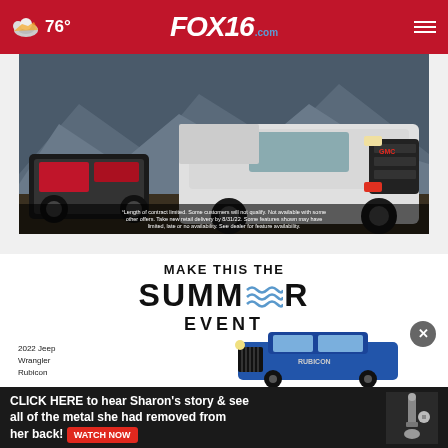76° FOX16.com
[Figure (photo): GMC truck advertisement showing a large silver GMC pickup truck with other off-road vehicles in a mountain setting. Fine print disclaimer text at bottom.]
¹Length of contract limited. Some customers will not qualify. Not available with some other offers. Take new retail delivery by 8/31/22. Some features shown may have limited, late or no availability. See dealer for feature availability.
[Figure (photo): Jeep Summer Event advertisement showing a blue 2022 Jeep Wrangler Rubicon. Text reads: MAKE THIS THE SUMMER EVENT. Label shows '2022 Jeep Wrangler Rubicon'.]
[Figure (photo): Bottom banner advertisement: CLICK HERE to hear Sharon's story & see all of the metal she had removed from her back! WATCH NOW. Shows a medical device image on the right.]